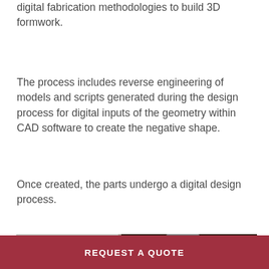digital fabrication methodologies to build 3D formwork.
The process includes reverse engineering of models and scripts generated during the design process for digital inputs of the geometry within CAD software to create the negative shape.
Once created, the parts undergo a digital design process.
[Figure (photo): Photo showing CNC machining process with a drill/milling tool on the right cutting into material, with foam or machined block visible on the left side, and cooling fluid/chips spray around the tool.]
REQUEST A QUOTE